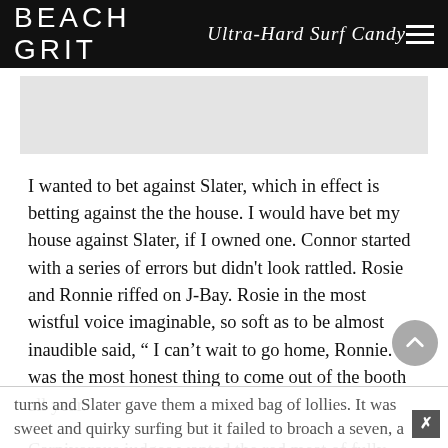BEACH GRIT Ultra-Hard Surf Candy
[Figure (photo): Gray placeholder image area below header]
I wanted to bet against Slater, which in effect is betting against the the house. I would have bet my house against Slater, if I owned one. Connor started with a series of errors but didn't look rattled. Rosie and Ronnie riffed on J-Bay. Rosie in the most wistful voice imaginable, so soft as to be almost inaudible said, “ I can’t wait to go home, Ronnie.” It was the most honest thing to come out of the booth all year.
Carnivorous judges wanted the red meat of fully marbled turns and Slater gave them a mixed bag of lollies. It was sweet and quirky surfing but it failed to broach a seven, a